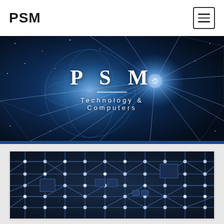PSM
[Figure (illustration): Hero banner with dark blue space/network background featuring globe with glowing blue light rays and geometric network lines. Large white bold text 'P S M' centered with subtitle 'Technology & Computers' below a thin divider line.]
[Figure (photo): Close-up photo of a dark navy blue circuit board with silver/white circuit traces, solder points, and electronic components visible across the entire image.]